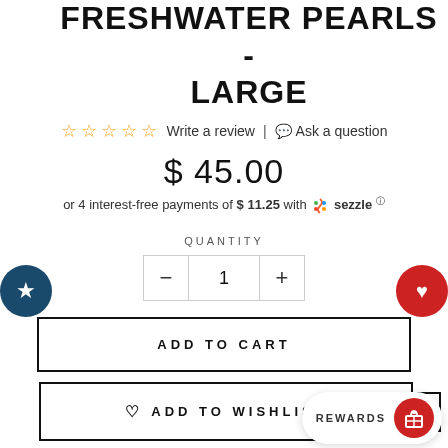FRESHWATER PEARLS - LARGE
☆ ☆ ☆ ☆ ☆ Write a review | 💬 Ask a question
$ 45.00
or 4 interest-free payments of $ 11.25 with 🌀 sezzle ℹ
QUANTITY
- 1 +
ADD TO CART
♡ ADD TO WISHLIST  1
REWARDS